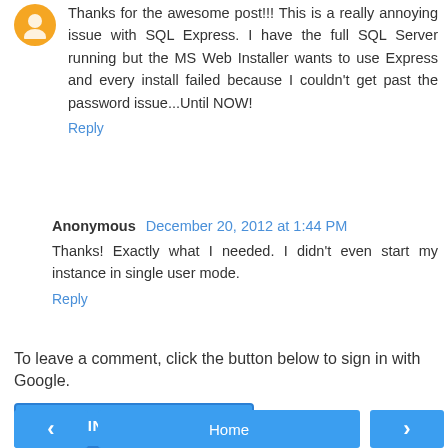Thanks for the awesome post!!! This is a really annoying issue with SQL Express. I have the full SQL Server running but the MS Web Installer wants to use Express and every install failed because I couldn't get past the password issue...Until NOW!
Reply
Anonymous December 20, 2012 at 1:44 PM
Thanks! Exactly what I needed. I didn't even start my instance in single user mode.
Reply
To leave a comment, click the button below to sign in with Google.
SIGN IN WITH GOOGLE
Home